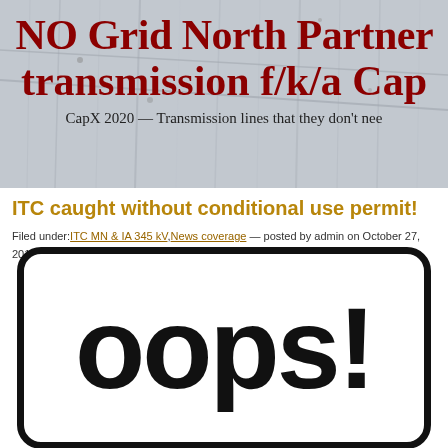[Figure (illustration): Website banner header with metallic/rainy background showing blog title 'NO Grid North Partners transmission f/k/a CapX' in dark red serif font with subtitle 'CapX 2020 — Transmission lines that they don't need']
ITC caught without conditional use permit!
Filed under: ITC MN & IA 345 kV, News coverage — posted by admin on October 27, 2014 @ 9:16 am
[Figure (illustration): Black and white 'oops!' sign with rounded rectangle border, bold sans-serif text]